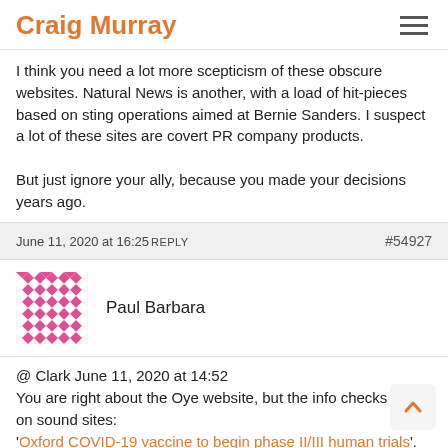Craig Murray
I think you need a lot more scepticism of these obscure websites. Natural News is another, with a load of hit-pieces based on sting operations aimed at Bernie Sanders. I suspect a lot of these sites are covert PR company products.

But just ignore your ally, because you made your decisions years ago.
June 11, 2020 at 16:25 REPLY #54927
Paul Barbara
@ Clark June 11, 2020 at 14:52
You are right about the Oye website, but the info checks out on sound sites:
'Oxford COVID-19 vaccine to begin phase II/III human trials'.
'The Vaccine Reaction'.